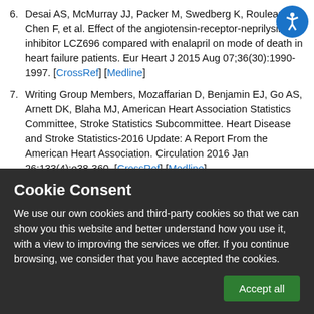6. Desai AS, McMurray JJ, Packer M, Swedberg K, Rouleau JL, Chen F, et al. Effect of the angiotensin-receptor-neprilysin inhibitor LCZ696 compared with enalapril on mode of death in heart failure patients. Eur Heart J 2015 Aug 07;36(30):1990-1997. [CrossRef] [Medline]
7. Writing Group Members, Mozaffarian D, Benjamin EJ, Go AS, Arnett DK, Blaha MJ, American Heart Association Statistics Committee, Stroke Statistics Subcommittee. Heart Disease and Stroke Statistics-2016 Update: A Report From the American Heart Association. Circulation 2016 Jan 26;133(4):e38-360. [CrossRef] [Medline]
8. Dacima Clinical Suite.   URL:
Cookie Consent
We use our own cookies and third-party cookies so that we can show you this website and better understand how you use it, with a view to improving the services we offer. If you continue browsing, we consider that you have accepted the cookies.
Accept all